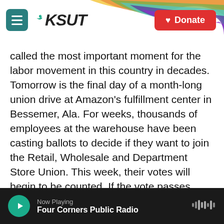[Figure (logo): KSUT public radio website header with hamburger menu, KSUT logo with bird icon, colorful rainbow wave graphic, and red Donate button]
called the most important moment for the labor movement in this country in decades. Tomorrow is the final day of a month-long union drive at Amazon's fulfillment center in Bessemer, Ala. For weeks, thousands of employees at the warehouse have been casting ballots to decide if they want to join the Retail, Wholesale and Department Store Union. This week, their votes will begin to be counted. If the vote passes, Bessemer would become Amazon's first unionized warehouse in the United States.
The outcome could have implications far beyond
Now Playing
Four Corners Public Radio